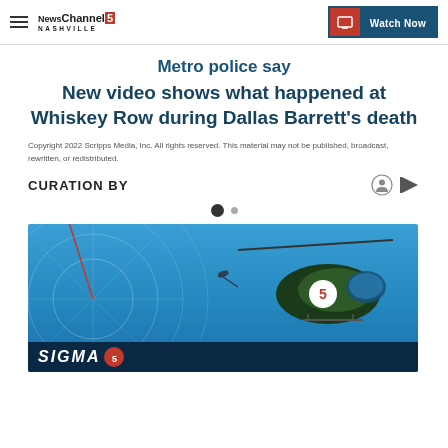NewsChannel 5 Nashville | Watch Now
Metro police say
New video shows what happened at Whiskey Row during Dallas Barrett's death
Copyright 2022 Scripps Media, Inc. All rights reserved. This material may not be published, broadcast, rewritten, or redistributed.
CURATION BY
[Figure (photo): NewsChannel 5 helicopter flying over cityscape with radar graphic overlay and station branding banner at bottom]